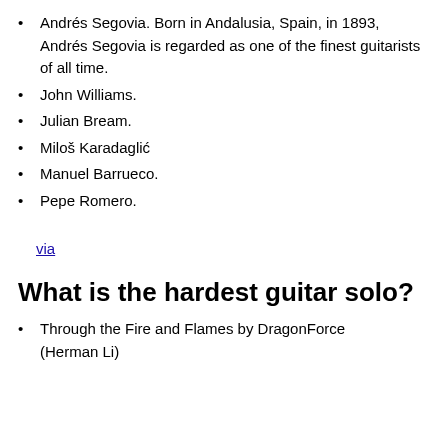Andrés Segovia. Born in Andalusia, Spain, in 1893, Andrés Segovia is regarded as one of the finest guitarists of all time.
John Williams.
Julian Bream.
Miloš Karadaglić
Manuel Barrueco.
Pepe Romero.
via
What is the hardest guitar solo?
Through the Fire and Flames by DragonForce (Herman Li)